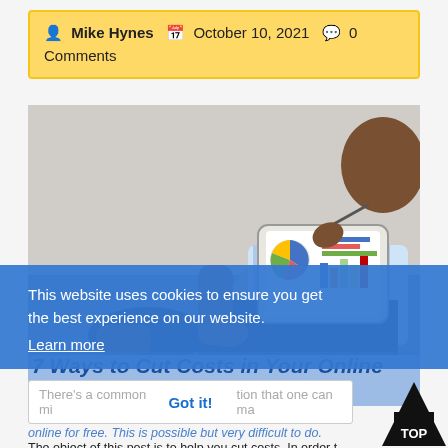Mike Hynes  October 10, 2021  0 Comments
[Figure (photo): Person holding a tablet displaying charts and graphs, sitting on a couch. Another person visible in the background.]
This website uses cookies to ensure you get the best experience on our website. Learn more
7 Ways to Cut Costs in Your Online Marketing Business
There's a common misconception that one can make money online for free. This is possible but very difficult to do. The object of this post is to help you cut costs. In order t…
Got it!